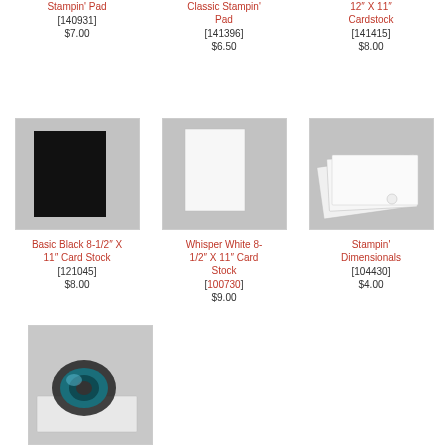Stampin' Pad [140931] $7.00
Classic Stampin' Pad [141396] $6.50
12" X 11" Cardstock [141415] $8.00
[Figure (photo): Basic Black cardstock on gray background]
[Figure (photo): Whisper White cardstock on gray background]
[Figure (photo): White cardstock sheets fanned out on gray background]
Basic Black 8-1/2" X 11" Card Stock [121045] $8.00
Whisper White 8-1/2" X 11" Card Stock [100730] $9.00
Stampin' Dimensionals [104430] $4.00
[Figure (photo): Tape runner/adhesive tool on gray background]